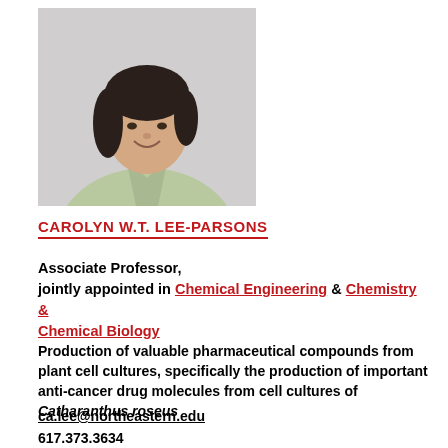[Figure (photo): Headshot photo of Carolyn W.T. Lee-Parsons, a woman with short dark hair wearing a light green top, smiling against a light gray background.]
CAROLYN W.T. LEE-PARSONS
Associate Professor, jointly appointed in Chemical Engineering & Chemistry & Chemical Biology
Production of valuable pharmaceutical compounds from plant cell cultures, specifically the production of important anti-cancer drug molecules from cell cultures of Catharanthus roseus
ca.lee@northeastern.edu
617.373.3634